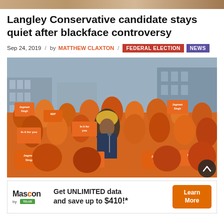[Figure (photo): Top cropped photo strip of people]
Langley Conservative candidate stays quiet after blackface controversy
Sep 24, 2019 / by MATTHEW CLAXTON / FEDERAL ELECTION NEWS
[Figure (photo): NDP campaign rally photo showing Jagmeet Singh at a podium surrounded by supporters holding orange Jagmeet Singh and 'In It for You' signs]
[Figure (other): Advertisement banner: Mascon by TELUS - Get UNLIMITED data and save up to $410!* Learn More]